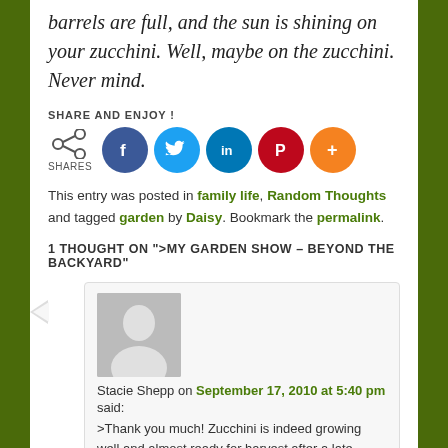barrels are full, and the sun is shining on your zucchini. Well, maybe on the zucchini. Never mind.
SHARE AND ENJOY !
[Figure (infographic): Social share buttons: share icon with SHARES label, then Facebook, Twitter, LinkedIn, Pinterest, and plus buttons]
This entry was posted in family life, Random Thoughts and tagged garden by Daisy. Bookmark the permalink.
1 THOUGHT ON ">MY GARDEN SHOW – BEYOND THE BACKYARD"
[Figure (illustration): Grey avatar placeholder image of a person silhouette]
Stacie Shepp on September 17, 2010 at 5:40 pm said:
>Thank you much! Zucchini is indeed growing well and almost ready for harvest after a late summer